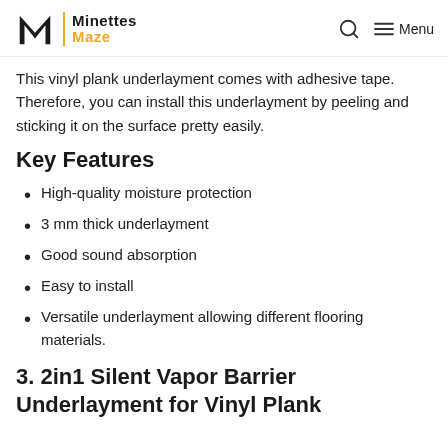Minettes Maze
This vinyl plank underlayment comes with adhesive tape. Therefore, you can install this underlayment by peeling and sticking it on the surface pretty easily.
Key Features
High-quality moisture protection
3 mm thick underlayment
Good sound absorption
Easy to install
Versatile underlayment allowing different flooring materials.
3. 2in1 Silent Vapor Barrier Underlayment for Vinyl Plank